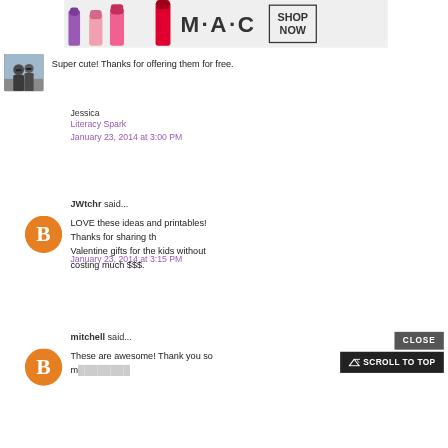[Figure (photo): MAC cosmetics advertisement banner with purple, pink and red lipsticks, MAC logo, and SHOP NOW box]
[Figure (photo): User avatar photo of two people]
Super cute! Thanks for offering them for free.
Jessica
Literacy Spark
January 23, 2014 at 3:00 PM
JWtchr said...
[Figure (illustration): Orange Blogger avatar icon]
LOVE these ideas and printables! Thanks for sharing th... Valentine gifts for the kids without costing much $$$.
January 23, 2014 at 3:15 PM
mitchell said...
[Figure (illustration): Orange Blogger avatar icon]
These are awesome! Thank you so m...
CLOSE
SCROLL TO TOP